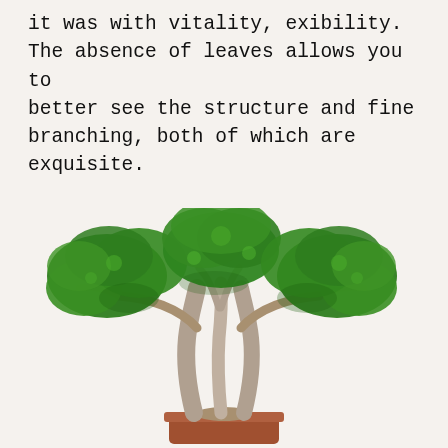it was with vitality, exibility. The absence of leaves allows you to better see the structure and fine branching, both of which are exquisite.
[Figure (photo): A bonsai tree with a thick gnarled trunk, multiple trunks intertwined, lush green dense foliage canopy spread wide, planted in a rectangular terracotta/reddish-brown pot, photographed against a white/off-white background.]